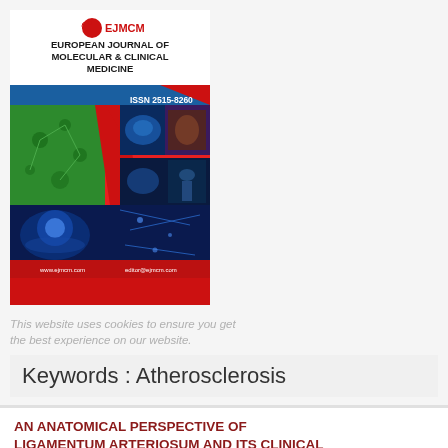[Figure (illustration): Cover of the European Journal of Molecular & Clinical Medicine (EJMCM), ISSN 2515-8260, with red background, molecular and medical imagery including brain, anatomy and DNA visuals, and website URL www.ejmcm.com]
This website uses cookies to ensure you get the best experience on our website.
Keywords : Atherosclerosis
AN ANATOMICAL PERSPECTIVE OF LIGAMENTUM ARTERIOSUM AND ITS CLINICAL SIGNIFICANCE